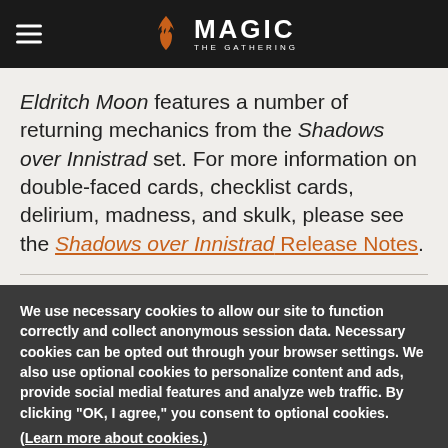Magic: The Gathering — site header with logo and navigation hamburger menu
Eldritch Moon features a number of returning mechanics from the Shadows over Innistrad set. For more information on double-faced cards, checklist cards, delirium, madness, and skulk, please see the Shadows over Innistrad Release Notes.
We use necessary cookies to allow our site to function correctly and collect anonymous session data. Necessary cookies can be opted out through your browser settings. We also use optional cookies to personalize content and ads, provide social medial features and analyze web traffic. By clicking "OK, I agree," you consent to optional cookies. (Learn more about cookies.)